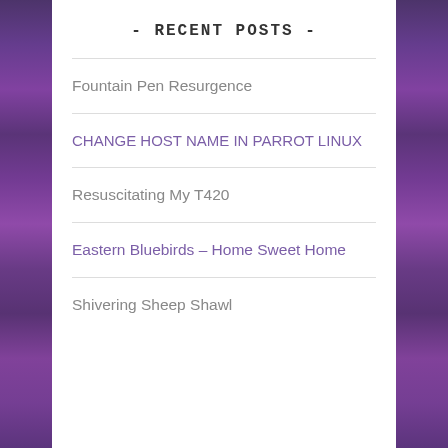- RECENT POSTS -
Fountain Pen Resurgence
CHANGE HOST NAME IN PARROT LINUX
Resuscitating My T420
Eastern Bluebirds – Home Sweet Home
Shivering Sheep Shawl